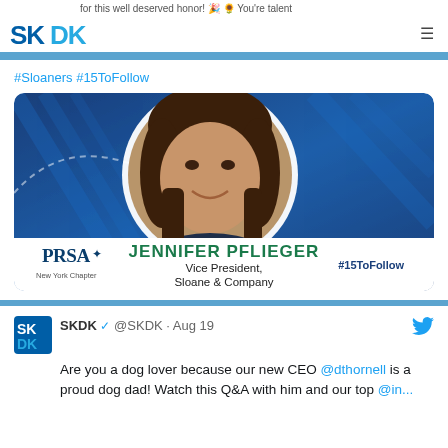for this well deserved honor! 🎉 🌻 You're talent...
[Figure (logo): SKDK logo in blue]
#Sloaners #15ToFollow
[Figure (photo): PRSA-NY profile card for Jennifer Pflieger, Vice President, Sloane & Company, #15ToFollow]
PRSA-NY
♡ 5
SKDK ✓ @SKDK · Aug 19
Are you a dog lover because our new CEO @dthornell is a proud dog dad! Watch this Q&A with him and our top @in...